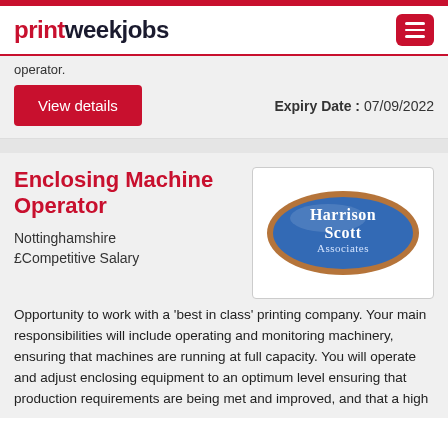printweekjobs
operator.
Expiry Date : 07/09/2022
View details
Enclosing Machine Operator
[Figure (logo): Harrison Scott Associates oval logo with blue background and copper/brown border, white text]
Nottinghamshire
£Competitive Salary
Opportunity to work with a 'best in class' printing company. Your main responsibilities will include operating and monitoring machinery, ensuring that machines are running at full capacity. You will operate and adjust enclosing equipment to an optimum level ensuring that production requirements are being met and improved, and that a high